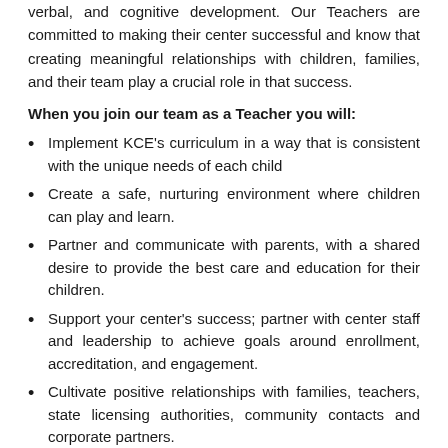verbal, and cognitive development. Our Teachers are committed to making their center successful and know that creating meaningful relationships with children, families, and their team play a crucial role in that success.
When you join our team as a Teacher you will:
Implement KCE's curriculum in a way that is consistent with the unique needs of each child
Create a safe, nurturing environment where children can play and learn.
Partner and communicate with parents, with a shared desire to provide the best care and education for their children.
Support your center's success; partner with center staff and leadership to achieve goals around enrollment, accreditation, and engagement.
Cultivate positive relationships with families, teachers, state licensing authorities, community contacts and corporate partners.
Qualifications